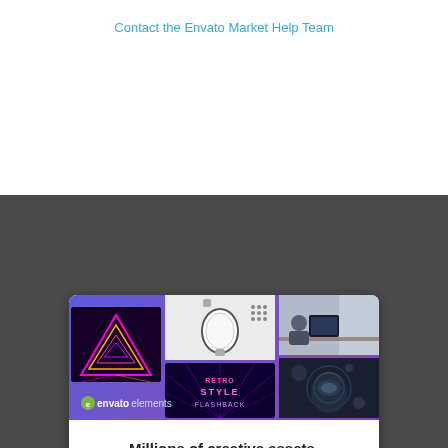Contact the Envato Market Help Team
[Figure (illustration): Envato Elements promotional banner showing creative assets collage including neon triangles, a watch, retro typography, a person working at a computer, and a dark sphere. Envato elements logo displayed in bottom left.]
Millions of creative assets, unlimited downloads.
One low cost subscription. Cancel any time.